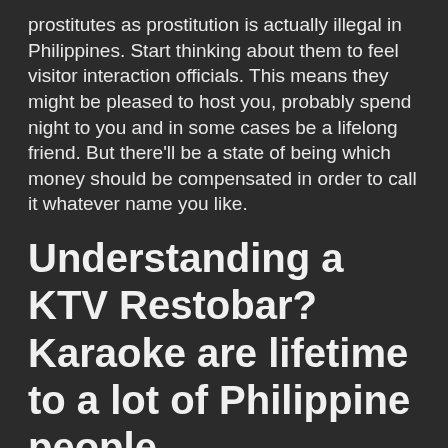prostitutes as prostitution is actually illegal in Philippines. Start thinking about them to feel visitor interaction officials. This means they might be pleased to host you, probably spend night to you and in some cases be a lifelong friend. But there'll be a state of being which money should be compensated in order to call it whatever name you like.
Understanding a KTV Restobar? Karaoke are lifetime to a lot of Philippine people.
Hence the Karaoke tv bistro and Bar became popular. Some of the KTV's become professionally operate with pro girls who happen to be paid to stay and take in with you, dance to you, and maybe date your so long as you are giving that the premium ends. Different KTV b...